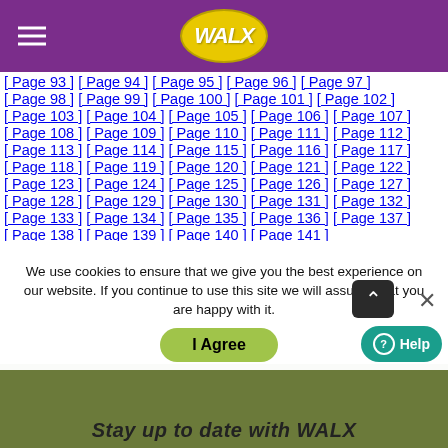WALX
[ Page 93 ] [ Page 94 ] [ Page 95 ] [ Page 96 ] [ Page 97 ]
[ Page 98 ] [ Page 99 ] [ Page 100 ] [ Page 101 ] [ Page 102 ]
[ Page 103 ] [ Page 104 ] [ Page 105 ] [ Page 106 ] [ Page 107 ]
[ Page 108 ] [ Page 109 ] [ Page 110 ] [ Page 111 ] [ Page 112 ]
[ Page 113 ] [ Page 114 ] [ Page 115 ] [ Page 116 ] [ Page 117 ]
[ Page 118 ] [ Page 119 ] [ Page 120 ] [ Page 121 ] [ Page 122 ]
[ Page 123 ] [ Page 124 ] [ Page 125 ] [ Page 126 ] [ Page 127 ]
[ Page 128 ] [ Page 129 ] [ Page 130 ] [ Page 131 ] [ Page 132 ]
[ Page 133 ] [ Page 134 ] [ Page 135 ] [ Page 136 ] [ Page 137 ]
[ Page 138 ] [ Page 139 ] [ Page 140 ] [ Page 141 ]...
We use cookies to ensure that we give you the best experience on our website. If you continue to use this site we will assume that you are happy with it.
I Agree
Stay up to date with WALX